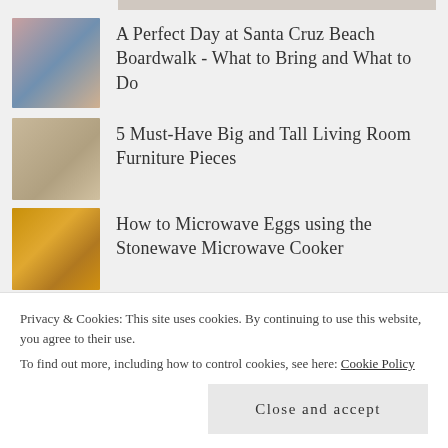A Perfect Day at Santa Cruz Beach Boardwalk - What to Bring and What to Do
5 Must-Have Big and Tall Living Room Furniture Pieces
How to Microwave Eggs using the Stonewave Microwave Cooker
The History of the Electric
Privacy & Cookies: This site uses cookies. By continuing to use this website, you agree to their use.
To find out more, including how to control cookies, see here: Cookie Policy
Close and accept